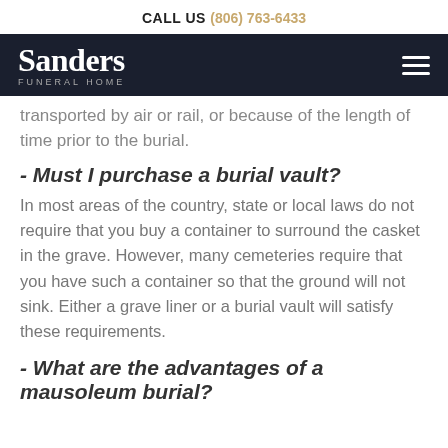CALL US (806) 763-6433
Sanders FUNERAL HOME
transported by air or rail, or because of the length of time prior to the burial.
- Must I purchase a burial vault?
In most areas of the country, state or local laws do not require that you buy a container to surround the casket in the grave. However, many cemeteries require that you have such a container so that the ground will not sink. Either a grave liner or a burial vault will satisfy these requirements.
- What are the advantages of a mausoleum burial?